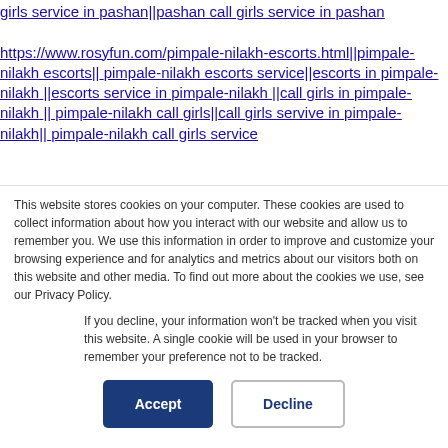girls service in pashan||pashan call girls service in pashan
https://www.rosyfun.com/pimpale-nilakh-escorts.html||pimpale-nilakh escorts|| pimpale-nilakh escorts service||escorts in pimpale-nilakh ||escorts service in pimpale-nilakh ||call girls in pimpale-nilakh || pimpale-nilakh call girls||call girls servive in pimpale-nilakh|| pimpale-nilakh call girls service
This website stores cookies on your computer. These cookies are used to collect information about how you interact with our website and allow us to remember you. We use this information in order to improve and customize your browsing experience and for analytics and metrics about our visitors both on this website and other media. To find out more about the cookies we use, see our Privacy Policy.
If you decline, your information won’t be tracked when you visit this website. A single cookie will be used in your browser to remember your preference not to be tracked.
Accept
Decline